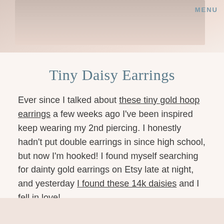[Figure (photo): Top portion showing a blurred/cropped photo with peach and cream tones, likely showing a person or close-up. MENU navigation button in top right corner.]
Tiny Daisy Earrings
Ever since I talked about these tiny gold hoop earrings a few weeks ago I've been inspired keep wearing my 2nd piercing. I honestly hadn't put double earrings in since high school, but now I'm hooked! I found myself searching for dainty gold earrings on Etsy late at night, and yesterday I found these 14k daisies and I fell in love!
Shop Here